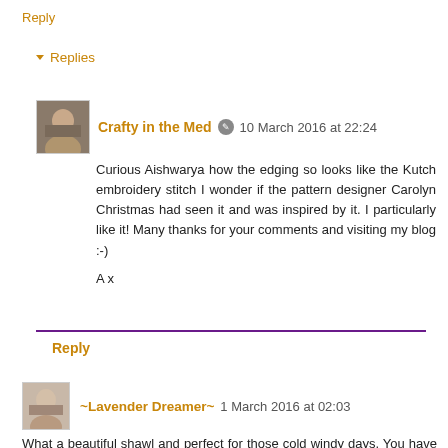Reply
▾ Replies
Crafty in the Med  10 March 2016 at 22:24
Curious Aishwarya how the edging so looks like the Kutch embroidery stitch I wonder if the pattern designer Carolyn Christmas had seen it and was inspired by it. I particularly like it! Many thanks for your comments and visiting my blog :-)
A x
Reply
~Lavender Dreamer~  1 March 2016 at 02:03
What a beautiful shawl and perfect for those cold windy days. You have such beautiful views to photograph! Enjoy your week! Hugs, Diane